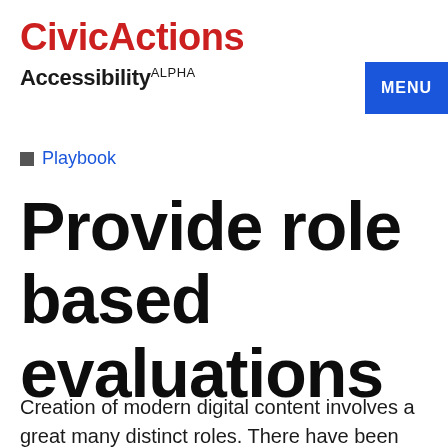CivicActions
Accessibility ALPHA
MENU
Playbook
Provide role based evaluations
Creation of modern digital content involves a great many distinct roles. There have been multiple efforts to organize the